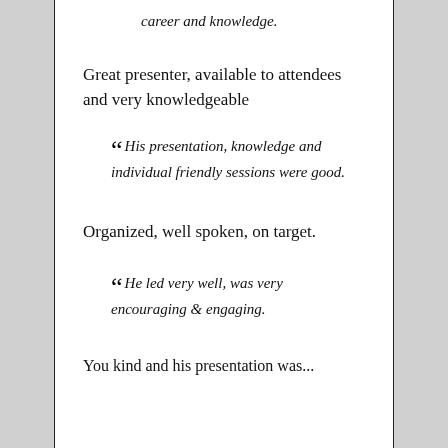career and knowledge.
Great presenter, available to attendees and very knowledgeable
“ His presentation, knowledge and individual friendly sessions were good.
Organized, well spoken, on target.
“ He led very well, was very encouraging & engaging.
You kind and his presentation was...